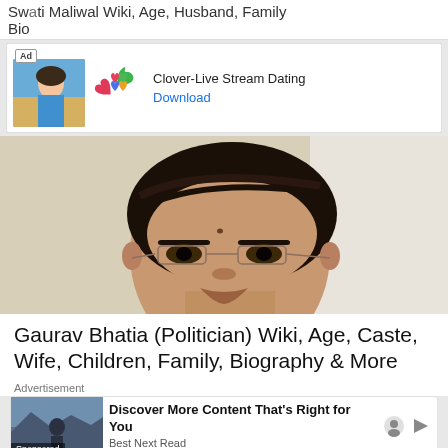Swati Maliwal Wiki, Age, Husband, Family Bio
[Figure (screenshot): Advertisement banner for Clover-Live Stream Dating app with Ad badge, app icon with four heart-shaped clovers, app name, and Download button]
[Figure (photo): Close-up portrait photo of Gaurav Bhatia, a middle-aged Indian man with dark hair styled back, wearing rimless eyeglasses, against a light background]
Gaurav Bhatia (Politician) Wiki, Age, Caste, Wife, Children, Family, Biography & More
Advertisement
[Figure (screenshot): Advertisement: Discover More Content That's Right for You - Best Next Read, Sponsored, with image of person outdoors and navigation icons]